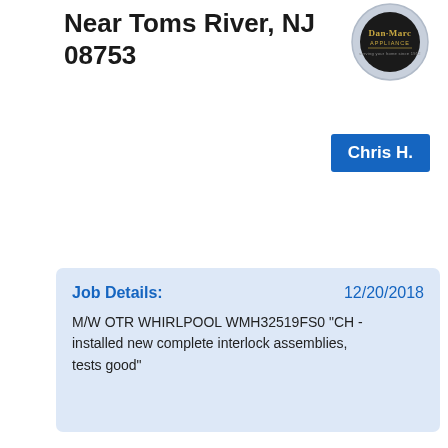Near Toms River, NJ 08753
[Figure (logo): Dan-Marc Appliance logo in circular badge, dark background with gold text]
Chris H.
Job Details:
12/20/2018
M/W OTR WHIRLPOOL WMH32519FS0 "CH - installed new complete interlock assemblies, tests good"
Near Brooklyn, NY 11234
[Figure (logo): Dan-Marc Appliance logo in circular badge with yellow envelope/mail icon overlay]